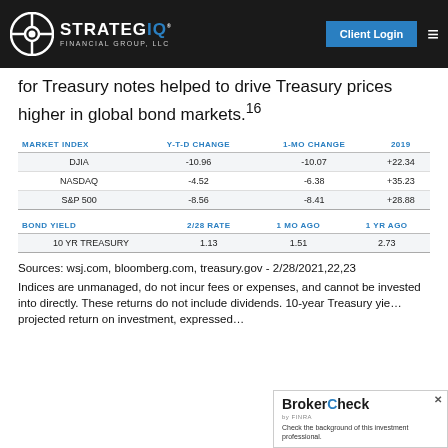STRATEGIQ FINANCIAL GROUP, LLC | Client Login
for Treasury notes helped to drive Treasury prices higher in global bond markets.16
| MARKET INDEX | Y-T-D CHANGE | 1-MO CHANGE | 2019 |
| --- | --- | --- | --- |
| DJIA | -10.96 | -10.07 | +22.34 |
| NASDAQ | -4.52 | -6.38 | +35.23 |
| S&P 500 | -8.56 | -8.41 | +28.88 |
| BOND YIELD | 2/28 RATE | 1 MO AGO | 1 YR AGO |
| --- | --- | --- | --- |
| 10 YR TREASURY | 1.13 | 1.51 | 2.73 |
Sources: wsj.com, bloomberg.com, treasury.gov - 2/28/2021,22,23
Indices are unmanaged, do not incur fees or expenses, and cannot be invested into directly. These returns do not include dividends. 10-year Treasury yie... projected return on investment, expressed...